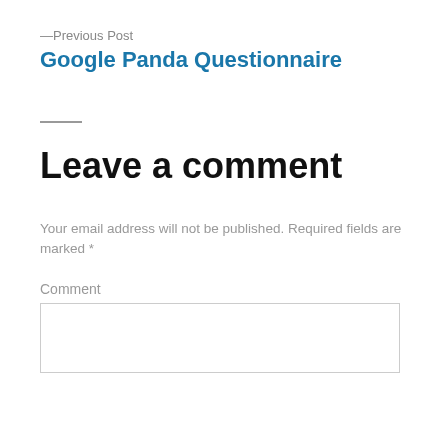—Previous Post
Google Panda Questionnaire
Leave a comment
Your email address will not be published. Required fields are marked *
Comment